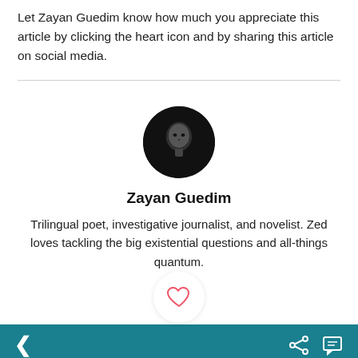Let Zayan Guedim know how much you appreciate this article by clicking the heart icon and by sharing this article on social media.
[Figure (photo): Circular black and white portrait photo of Zayan Guedim]
Zayan Guedim
Trilingual poet, investigative journalist, and novelist. Zed loves tackling the big existential questions and all-things quantum.
< (back arrow) | heart icon | share icon | comment icon